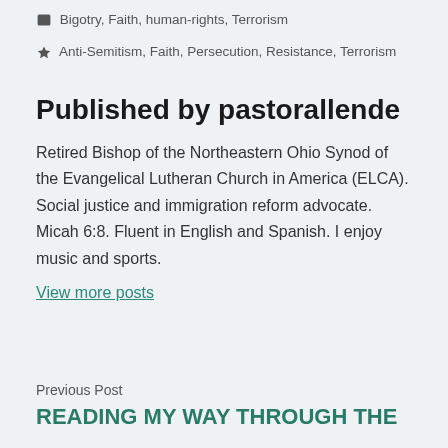Bigotry, Faith, human-rights, Terrorism
Anti-Semitism, Faith, Persecution, Resistance, Terrorism
Published by pastorallende
Retired Bishop of the Northeastern Ohio Synod of the Evangelical Lutheran Church in America (ELCA). Social justice and immigration reform advocate. Micah 6:8. Fluent in English and Spanish. I enjoy music and sports.
View more posts
Previous Post
READING MY WAY THROUGH THE